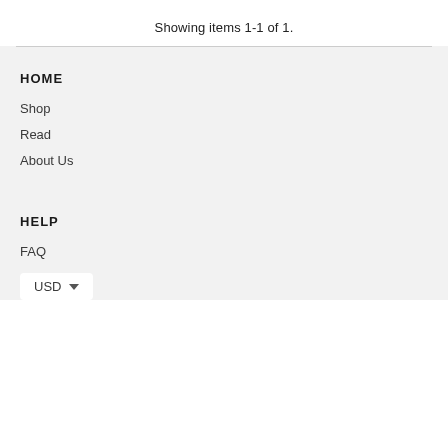Showing items 1-1 of 1.
HOME
Shop
Read
About Us
HELP
FAQ
USD